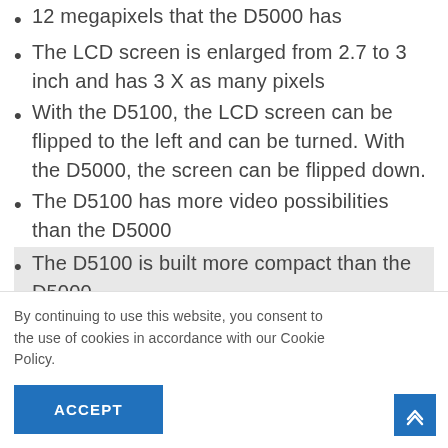12 megapixels that the D5000 has
The LCD screen is enlarged from 2.7 to 3 inch and has 3 X as many pixels
With the D5100, the LCD screen can be flipped to the left and can be turned. With the D5000, the screen can be flipped down.
The D5100 has more video possibilities than the D5000
The D5100 is built more compact than the D5000
By continuing to use this website, you consent to the use of cookies in accordance with our Cookie Policy.
ACCEPT